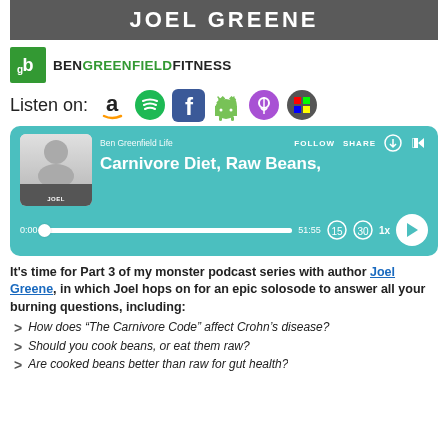JOEL GREENE
[Figure (logo): Ben Greenfield Fitness logo with green icon and text]
Listen on: [Amazon] [Spotify] [Facebook] [Android] [Apple Podcasts] [Windows]
[Figure (screenshot): Podcast player UI on teal background showing Ben Greenfield Life channel, episode 'Carnivore Diet, Raw Beans,' with Joel Greene thumbnail, 0:00 / 51:55 progress bar, and playback controls at 1x speed]
It's time for Part 3 of my monster podcast series with author Joel Greene, in which Joel hops on for an epic solosode to answer all your burning questions, including:
How does “The Carnivore Code” affect Crohn’s disease?
Should you cook beans, or eat them raw?
Are cooked beans better than raw for gut health?